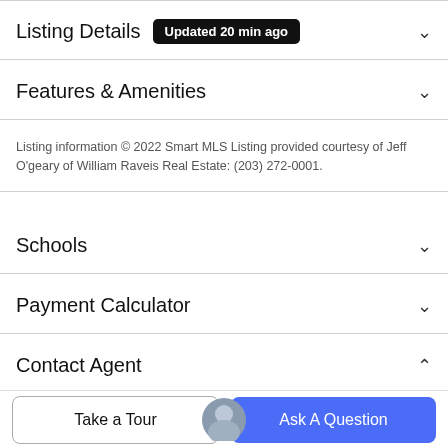Listing Details  Updated 20 min ago
Features & Amenities
Listing information © 2022 Smart MLS Listing provided courtesy of Jeff O'geary of William Raveis Real Estate: (203) 272-0001.
Schools
Payment Calculator
Contact Agent
[Figure (photo): Partial circular agent avatar photo at bottom of contact section]
Take a Tour
Ask A Question